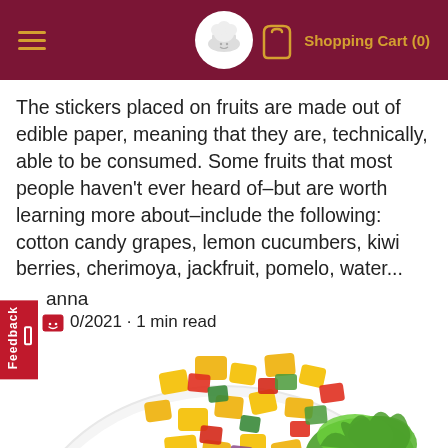Shopping Cart (0)
The stickers placed on fruits are made out of edible paper, meaning that they are, technically, able to be consumed. Some fruits that most people haven't ever heard of–but are worth learning more about–include the following: cotton candy grapes, lemon cucumbers, kiwi berries, cherimoya, jackfruit, pomelo, water...
Brianna
0/2021 · 1 min read
[Figure (photo): A white plate with a colorful fruit and vegetable salad featuring mango, tomato, cucumber, and purple onion pieces, garnished with mint leaves, lettuce, and a decorative mango rose spiral.]